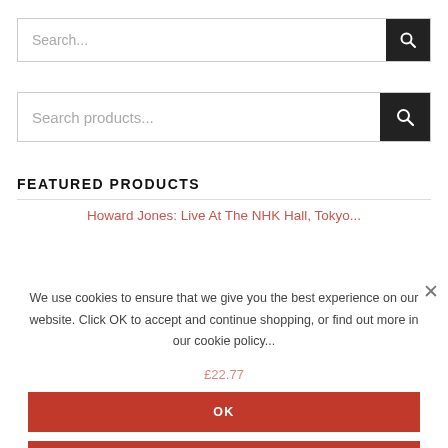[Figure (screenshot): Search bar with placeholder text 'Search...' and dark search button with magnifying glass icon]
[Figure (screenshot): Search bar with placeholder text 'Search products...' and dark search button with magnifying glass icon]
FEATURED PRODUCTS
Howard Jones: Live At The NHK Hall, Tokyo...
We use cookies to ensure that we give you the best experience on our website. Click OK to accept and continue shopping, or find out more in our cookie policy...
OK
READ MORE
The Rah Band: Messages From The Stars - Th...